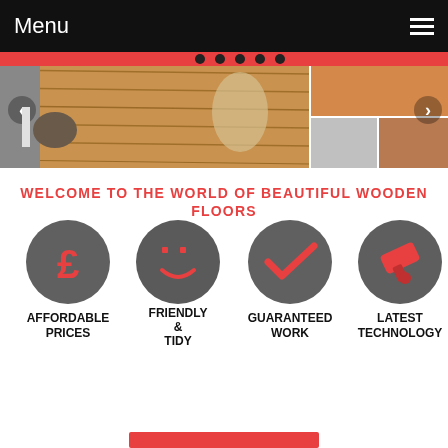Menu
[Figure (photo): Hero slider image showing wooden flooring in a living room, with thumbnail images of wood flooring samples on the right, navigation arrows on both sides, and red navigation dots at the top]
WELCOME TO THE WORLD OF BEAUTIFUL WOODEN FLOORS
[Figure (infographic): Four circular grey icons with red symbols: pound sign (£), smiley face, checkmark, and a tool/sander icon, labeled AFFORDABLE PRICES, FRIENDLY & TIDY, GUARANTEED WORK, LATEST TECHNOLOGY]